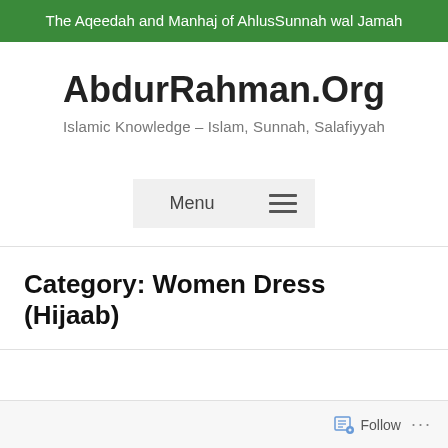The Aqeedah and Manhaj of AhlusSunnah wal Jamah
AbdurRahman.Org
Islamic Knowledge – Islam, Sunnah, Salafiyyah
Menu
Category: Women Dress (Hijaab)
Follow ...